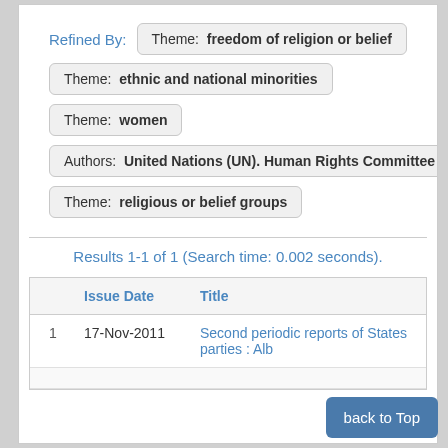Refined By:  Theme: freedom of religion or belief
Theme: ethnic and national minorities
Theme: women
Authors: United Nations (UN). Human Rights Committee (H...
Theme: religious or belief groups
Results 1-1 of 1 (Search time: 0.002 seconds).
|  | Issue Date | Title |
| --- | --- | --- |
| 1 | 17-Nov-2011 | Second periodic reports of States parties : Alb... |
back to Top